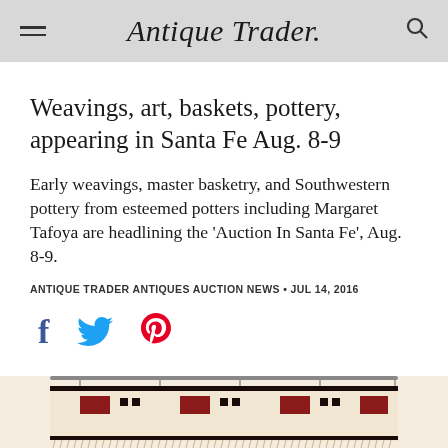Antique Trader
Weavings, art, baskets, pottery, appearing in Santa Fe Aug. 8-9
Early weavings, master basketry, and Southwestern pottery from esteemed potters including Margaret Tafoya are headlining the 'Auction In Santa Fe', Aug. 8-9.
ANTIQUE TRADER ANTIQUES AUCTION NEWS • JUL 14, 2016
[Figure (infographic): Social media share icons: Facebook (f), Twitter bird, Pinterest (P)]
[Figure (photo): Partial view of a Native American woven rug/textile with geometric patterns in red, black, and white on a cream background, hanging from a rod.]